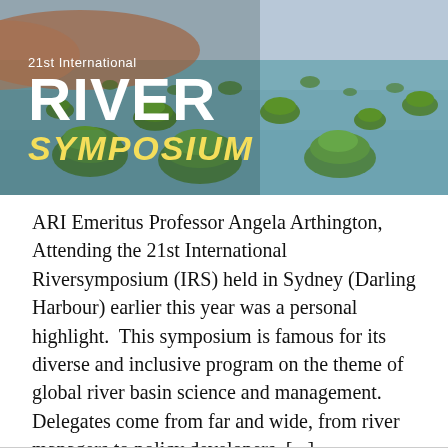[Figure (photo): Aerial photograph of a wetland/floodplain with green vegetation islands scattered across shallow water, used as a banner for the 21st International River Symposium. Overlaid text reads '21st International RIVER SYMPOSIUM'.]
ARI Emeritus Professor Angela Arthington, Attending the 21st International Riversymposium (IRS) held in Sydney (Darling Harbour) earlier this year was a personal highlight.  This symposium is famous for its diverse and inclusive program on the theme of global river basin science and management.  Delegates come from far and wide, from river managers to policy developers, [...]